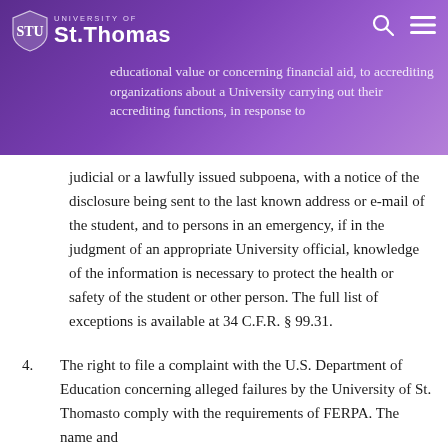University of St. Thomas
educational value or concerning financial aid, to accrediting organizations about a University carrying out their accrediting functions, in response to a judicial or a lawfully issued subpoena, with a notice of the disclosure being sent to the last known address or e-mail of the student, and to persons in an emergency, if in the judgment of an appropriate University official, knowledge of the information is necessary to protect the health or safety of the student or other person. The full list of exceptions is available at 34 C.F.R. § 99.31.
4. The right to file a complaint with the U.S. Department of Education concerning alleged failures by the University of St. Thomasto comply with the requirements of FERPA. The name and address of the office that...